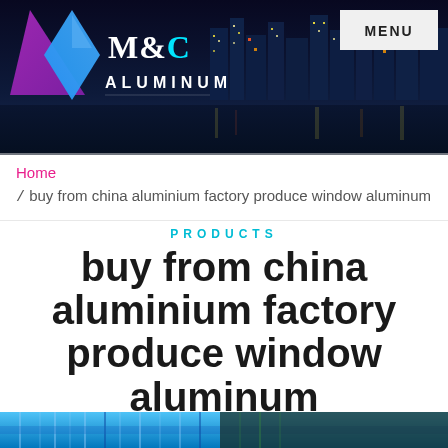[Figure (screenshot): M&C Aluminum company website header with night city skyline background, diamond logo, brand name M&C ALUMINUM, and MENU button]
Home / buy from china aluminium factory produce window aluminum
PRODUCTS
buy from china aluminium factory produce window aluminum
[Figure (photo): Bottom strip showing aluminum window factory or product image]